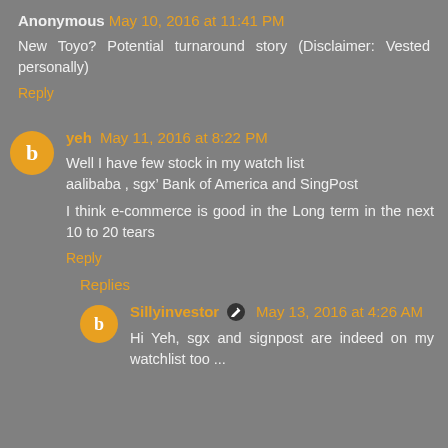Anonymous May 10, 2016 at 11:41 PM
New Toyo? Potential turnaround story (Disclaimer: Vested personally)
Reply
yeh May 11, 2016 at 8:22 PM
Well I have few stock in my watch list aalibaba , sgx’ Bank of America and SingPost
I think e-commerce is good in the Long term in the next 10 to 20 tears
Reply
Replies
Sillyinvestor May 13, 2016 at 4:26 AM
Hi Yeh, sgx and signpost are indeed on my watchlist too ...